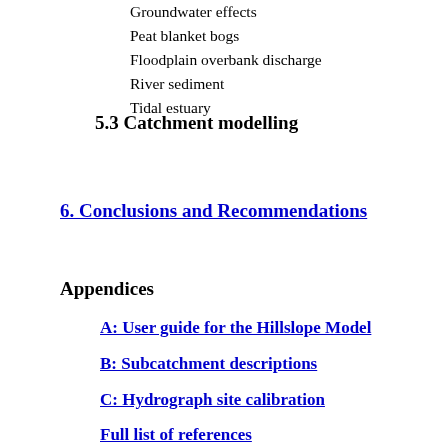Groundwater effects
Peat blanket bogs
Floodplain overbank discharge
River sediment
Tidal estuary
5.3 Catchment modelling
6. Conclusions and Recommendations
Appendices
A: User guide for the Hillslope Model
B: Subcatchment descriptions
C: Hydrograph site calibration
Full list of references